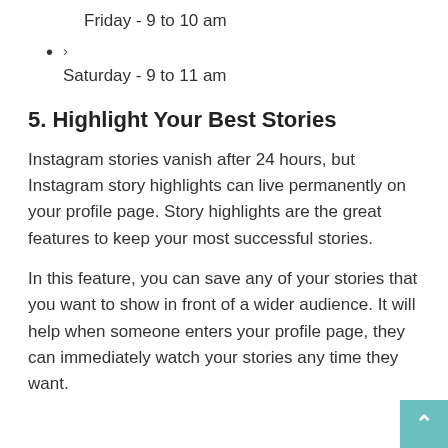Friday - 9 to 10 am
> Saturday - 9 to 11 am
5. Highlight Your Best Stories
Instagram stories vanish after 24 hours, but Instagram story highlights can live permanently on your profile page. Story highlights are the great features to keep your most successful stories.
In this feature, you can save any of your stories that you want to show in front of a wider audience. It will help when someone enters your profile page, they can immediately watch your stories any time they want.